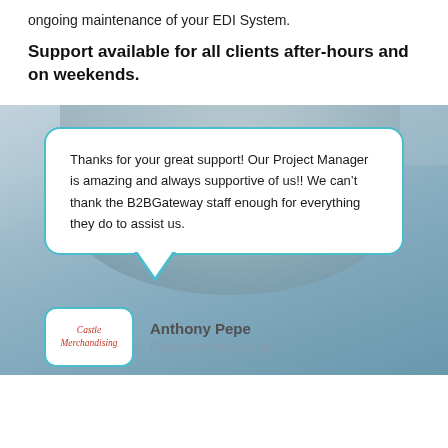ongoing maintenance of your EDI System.
Support available for all clients after-hours and on weekends.
[Figure (photo): Background photo of a person smiling, blurred behind a testimonial speech bubble quote card.]
Thanks for your great support! Our Project Manager is amazing and always supportive of us!! We can't thank the B2BGateway staff enough for everything they do to assist us.
[Figure (logo): Castle Merchandising logo in italic red script text]
Anthony Pepe
Castle Merchandising